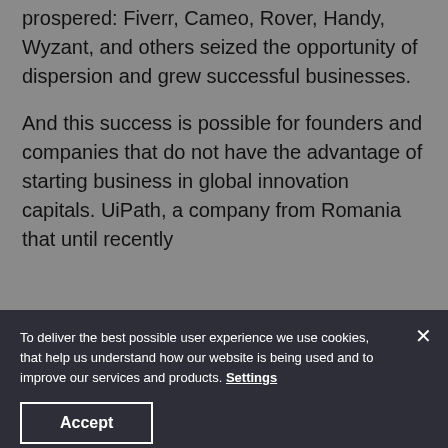prospered: Fiverr, Cameo, Rover, Handy, Wyzant, and others seized the opportunity of dispersion and grew successful businesses.

And this success is possible for founders and companies that do not have the advantage of starting business in global innovation capitals. UiPath, a company from Romania that until recently
To deliver the best possible user experience we use cookies, that help us understand how our website is being used and to improve our services and products. Settings